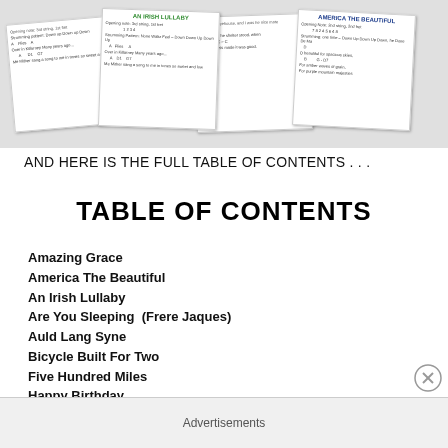[Figure (illustration): Preview images of sheet music cards including 'An Irish Lullaby' and 'America The Beautiful' with chord diagrams and strumming patterns]
AND HERE IS THE FULL TABLE OF CONTENTS . . .
TABLE OF CONTENTS
Amazing Grace
America The Beautiful
An Irish Lullaby
Are You Sleeping  (Frere Jaques)
Auld Lang Syne
Bicycle Built For Two
Five Hundred Miles
Happy Birthday
He's Got The Whole World In His Hands
Home On The Range
House Of The Rising Sun
Advertisements